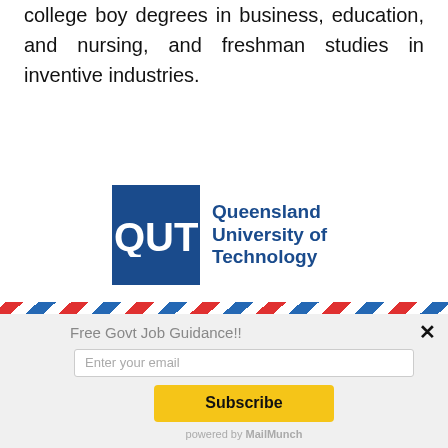college boy degrees in business, education, and nursing, and freshman studies in inventive industries.
[Figure (logo): Queensland University of Technology (QUT) logo — blue square with white QUT text beside the full name in blue]
Free Govt Job Guidance!!
Enter your email
Subscribe
powered by MailMunch